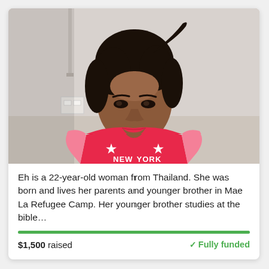[Figure (photo): Portrait photo of a young woman wearing a red/pink sleeveless 'NEW YORK' jersey with pink sleeves, dark hair pulled back, standing against a white wall. She appears to be in her early twenties.]
Eh is a 22-year-old woman from Thailand. She was born and lives her parents and younger brother in Mae La Refugee Camp. Her younger brother studies at the bible…
$1,500 raised   ✓Fully funded